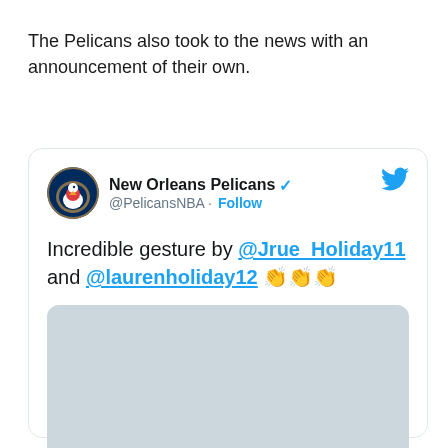The Pelicans also took to the news with an announcement of their own.
[Figure (screenshot): Tweet from New Orleans Pelicans (@PelicansNBA) with verified badge and Follow button. Tweet text: 'Incredible gesture by @Jrue_Holiday11 and @laurenholiday12 👏👏👏'. A light blue-grey image placeholder appears below the tweet text.]